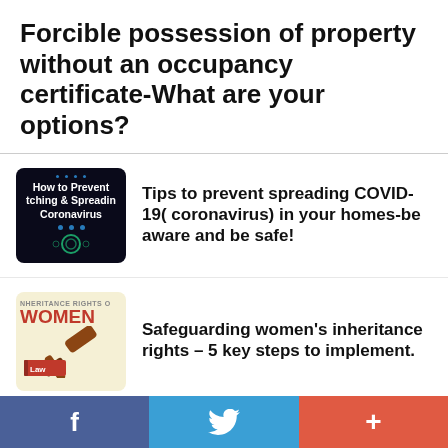Forcible possession of property without an occupancy certificate-What are your options?
[Figure (illustration): Dark background thumbnail showing 'How to Prevent Catching & Spreading Coronavirus' text]
Tips to prevent spreading COVID-19( coronavirus) in your homes-be aware and be safe!
[Figure (illustration): Thumbnail showing 'INHERITANCE RIGHTS OF WOMEN' with gavel image on light yellow background]
Safeguarding women's inheritance rights – 5 key steps to implement.
[Figure (illustration): Thumbnail showing 'LOAN' text on light grey background]
NRIs checklist for taking a home loan in India.
f  [Twitter bird]  +